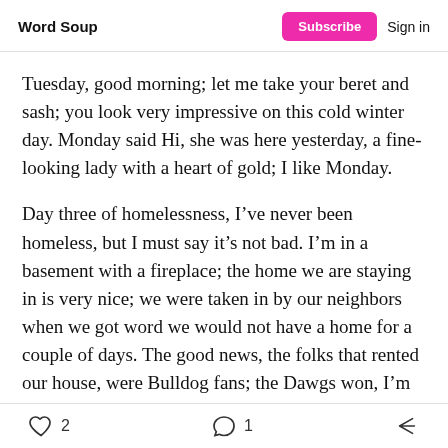Word Soup | Subscribe | Sign in
Tuesday, good morning; let me take your beret and sash; you look very impressive on this cold winter day. Monday said Hi, she was here yesterday, a fine-looking lady with a heart of gold; I like Monday.
Day three of homelessness, I’ve never been homeless, but I must say it’s not bad. I’m in a basement with a fireplace; the home we are staying in is very nice; we were taken in by our neighbors when we got word we would not have a home for a couple of days. The good news, the folks that rented our house, were Bulldog fans; the Dawgs won, I’m happy for them.
2 likes | 1 comment | share